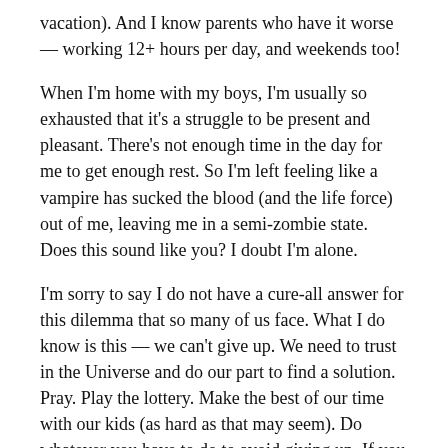vacation). And I know parents who have it worse — working 12+ hours per day, and weekends too!
When I'm home with my boys, I'm usually so exhausted that it's a struggle to be present and pleasant. There's not enough time in the day for me to get enough rest. So I'm left feeling like a vampire has sucked the blood (and the life force) out of me, leaving me in a semi-zombie state. Does this sound like you? I doubt I'm alone.
I'm sorry to say I do not have a cure-all answer for this dilemma that so many of us face. What I do know is this — we can't give up. We need to trust in the Universe and do our part to find a solution. Pray. Play the lottery. Make the best of our time with our kids (as hard as that may seem). Do whatever you have to do to avoid giving up. If you give up, all is lost. If you keep the faith, anything is possible.